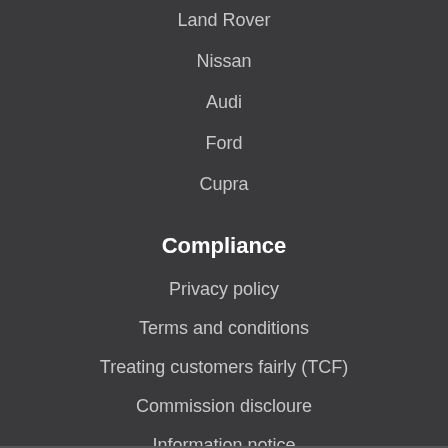Land Rover
Nissan
Audi
Ford
Cupra
Compliance
Privacy policy
Terms and conditions
Treating customers fairly (TCF)
Commission discloure
Information notice